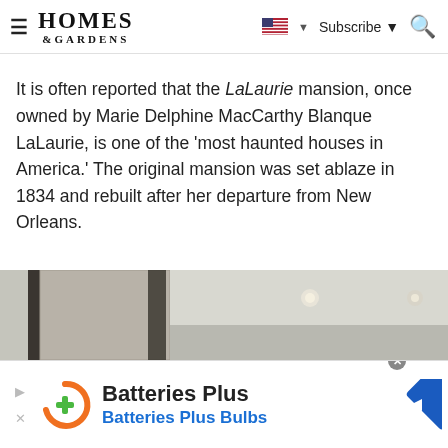Homes & Gardens — Subscribe
It is often reported that the LaLaurie mansion, once owned by Marie Delphine MacCarthy Blanque LaLaurie, is one of the 'most haunted houses in America.' The original mansion was set ablaze in 1834 and rebuilt after her departure from New Orleans.
[Figure (photo): Interior photo of a modern room showing ceiling with recessed lighting and upper wall/cabinet area in neutral tones]
[Figure (infographic): Advertisement banner for Batteries Plus / Batteries Plus Bulbs with orange logo and blue navigation arrow icon]